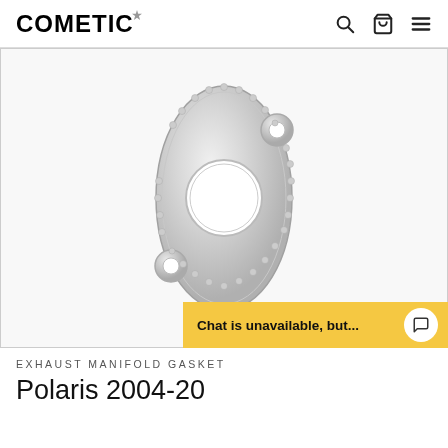COMETIC
[Figure (photo): Silver metallic exhaust manifold gasket with diamond-like oval shape, central circular opening, and two bolt holes at top-right and bottom-left corners. Decorative bead pattern around the edges.]
EXHAUST MANIFOLD GASKET
Polaris 2004-20
Chat is unavailable, but...